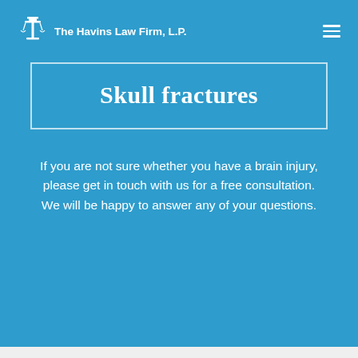The Havins Law Firm, L.P.
Skull fractures
If you are not sure whether you have a brain injury, please get in touch with us for a free consultation.
We will be happy to answer any of your questions.